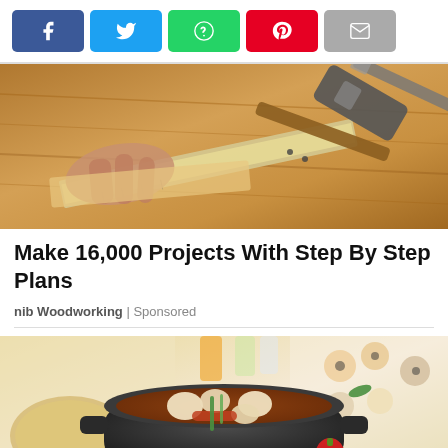[Figure (other): Social media share buttons: Facebook (blue), Twitter (light blue), WhatsApp (green), Pinterest (red), Email (gray)]
[Figure (photo): Woodworking photo showing hands with ruler, hammer and other tools on a wooden surface]
Make 16,000 Projects With Step By Step Plans
nib Woodworking | Sponsored
[Figure (illustration): Anime/cartoon style illustration of a hot pot with dumplings and vegetables, surrounded by various foods, drinks and snacks]